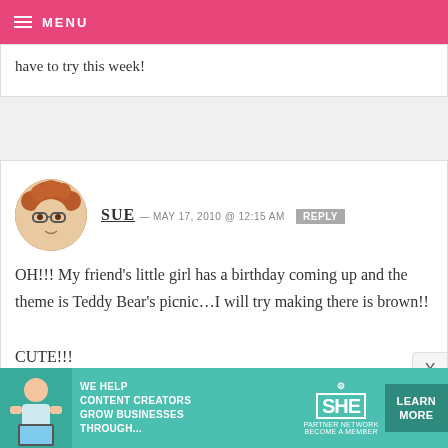MENU
have to try this week!
SUE — MAY 17, 2010 @ 12:15 AM  REPLY
OH!!! My friend's little girl has a birthday coming up and the theme is Teddy Bear's picnic…I will try making there is brown!!
CUTE!!!
When is the book available??
[Figure (infographic): SHE Partner Network advertisement banner with text: WE HELP CONTENT CREATORS GROW BUSINESSES THROUGH... LEARN MORE, BECOME A MEMBER]